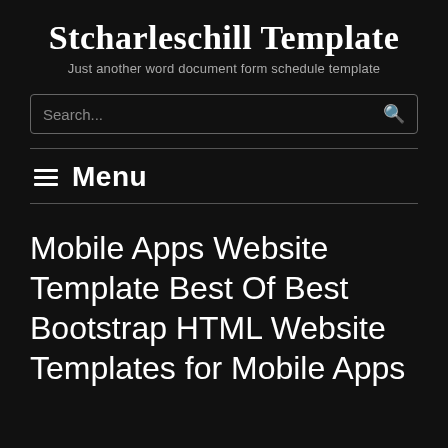Stcharleschill Template
Just another word document form schedule template
Search...
≡ Menu
Mobile Apps Website Template Best Of Best Bootstrap HTML Website Templates for Mobile Apps